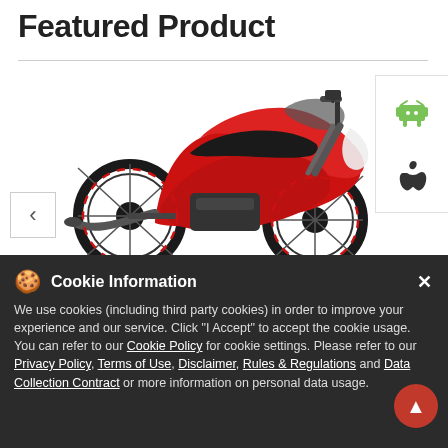Featured Product
[Figure (photo): Red sport motorcycle (Bajaj Pulsar style) on white background, side view facing right]
This dealer is closed. Please visit Other Stores
Cookie Information
We use cookies (including third party cookies) in order to improve your experience and our service. Click "I Accept" to accept the cookie usage. You can refer to our Cookie Policy for cookie settings. Please refer to our Privacy Policy, Terms of Use, Disclaimer, Rules & Regulations and Data Collection Contract or more information on personal data usage.
Timeline